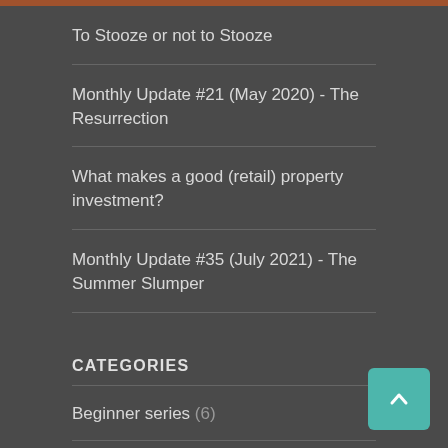To Stooze or not to Stooze
Monthly Update #21 (May 2020) - The Resurrection
What makes a good (retail) property investment?
Monthly Update #35 (July 2021) - The Summer Slumper
CATEGORIES
Beginner series (6)
Crypto (1)
Danish series (2)